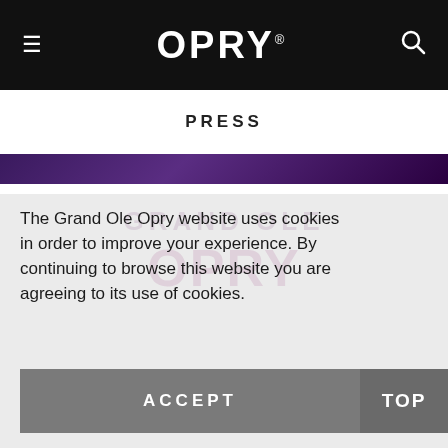≡  OPRY.  🔍
PRESS
The Grand Ole Opry website uses cookies in order to improve your experience. By continuing to browse this website you are agreeing to its use of cookies.
ACCEPT
TOP